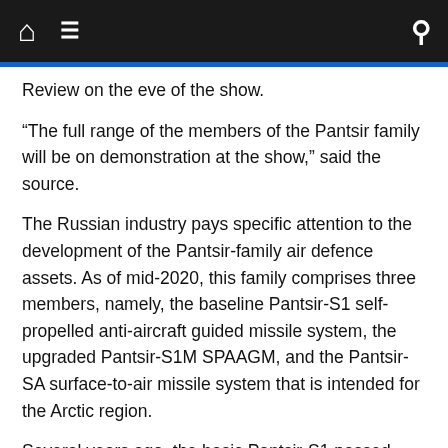Navigation bar with home, menu, and search icons
Review on the eve of the show.
“The full range of the members of the Pantsir family will be on demonstration at the show,” said the source.
The Russian industry pays specific attention to the development of the Pantsir-family air defence assets. As of mid-2020, this family comprises three members, namely, the baseline Pantsir-S1 self-propelled anti-aircraft guided missile system, the upgraded Pantsir-S1M SPAAGM, and the Pantsir-SA surface-to-air missile system that is intended for the Arctic region.
Several years ago, the basic Pantsir-S1 passed through an update. The current variant of the weapon has retained the original armament suite integrating two 2A38M 30 mm twin-barrel anti-aircraft cannons and 12 ready-to-use SAMs. The kinetic component of the